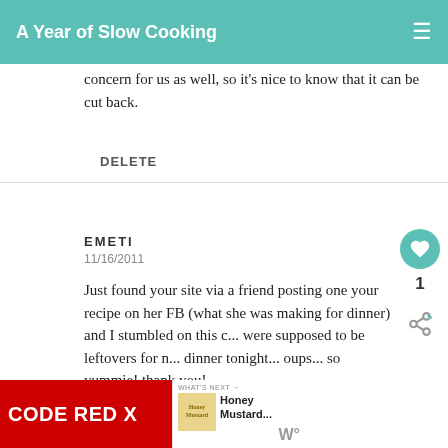A Year of Slow Cooking
concern for us as well, so it's nice to know that it can be cut back.
DELETE
EMETI
11/16/2011
Just found your site via a friend posting one your recipe on her FB (what she was making for dinner) and I stumbled on this c... were supposed to be leftovers for n... dinner tonight... oups... so yummie! thank you!
[Figure (screenshot): Ad banner at bottom: CODE RED X / Ripcord Arrow Rest advertisement, and WHAT'S NEXT panel showing Honey Mustard...]